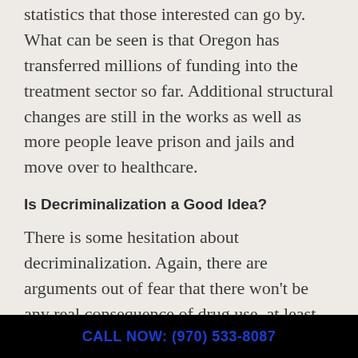statistics that those interested can go by. What can be seen is that Oregon has transferred millions of funding into the treatment sector so far. Additional structural changes are still in the works as well as more people leave prison and jails and move over to healthcare.
Is Decriminalization a Good Idea?
There is some hesitation about decriminalization. Again, there are arguments out of fear that there won't be any real consequence of drug use, at least on a punitive scale. There are also concerns that drug
CALL NOW: (970) 533-8087